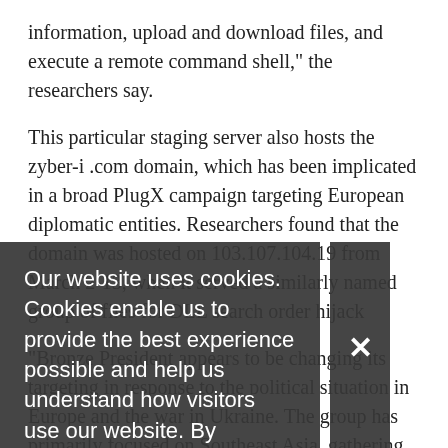information, upload and download files, and execute a remote command shell," the researchers say.
This particular staging server also hosts the zyber-i .com domain, which has been implicated in a broad PlugX campaign targeting European diplomatic entities. Researchers found that the domain was hosted on 103.107.104.19 from March 2-13, when it served a similarly named group of files for DLL search order hijack
"Bronze President appears to be changing its targeting in response to the political situation in Europe and the war in Ukraine. The group has primarily focused on Southeast Asia, gathering political and economic intelligence valuable to the People's Republic of China (PRC)," the researchers say. "Targeting Russian-speaking users and European entities suggests that the threat actors have received updated tasking that reflects the
Our website uses cookies. Cookies enable us to provide the best experience possible and help us understand how visitors use our website. By browsing bankinfosecurity.asia, you agree to our use of cookies.